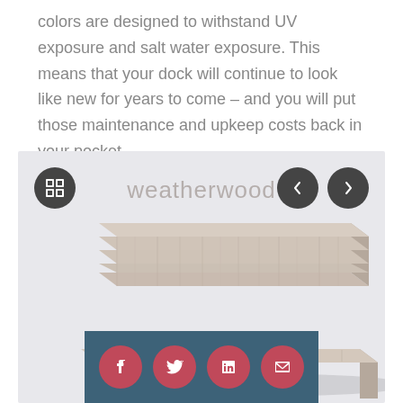colors are designed to withstand UV exposure and salt water exposure. This means that your dock will continue to look like new for years to come – and you will put those maintenance and upkeep costs back in your pocket.
[Figure (photo): A screenshot of a product color swatch viewer showing stacked weatherwood composite decking boards in a light grayish-beige tone, with navigation arrows and an expand icon. Social media share buttons (Facebook, Twitter, LinkedIn, email) appear at the bottom.]